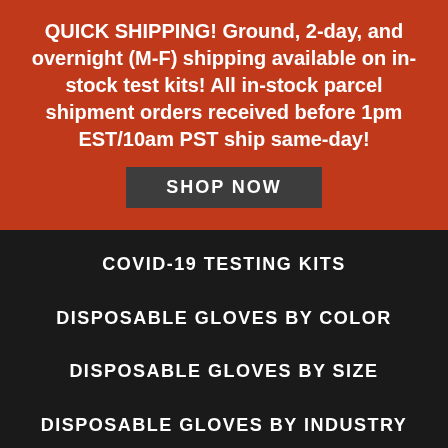QUICK SHIPPING! Ground, 2-day, and overnight (M-F) shipping available on in-stock test kits! All in-stock parcel shipment orders received before 1pm EST/10am PST ship same-day!
SHOP NOW
COVID-19 TESTING KITS
DISPOSABLE GLOVES BY COLOR
DISPOSABLE GLOVES BY SIZE
DISPOSABLE GLOVES BY INDUSTRY
SUNLINE BRAND DISPOSABLE GLOVES
MEDICAL GOWNS
We use cookies to ensure that we give you the best experience on our website.
ACCEPT
Privacy Policy